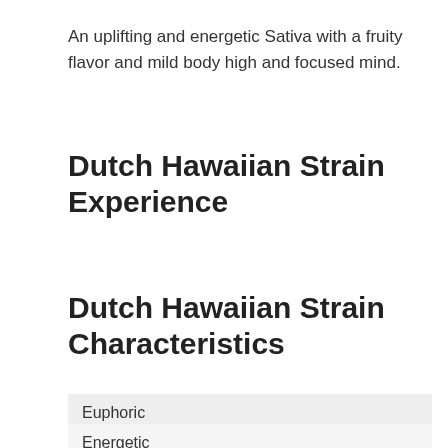An uplifting and energetic Sativa with a fruity flavor and mild body high and focused mind.
Dutch Hawaiian Strain Experience
Dutch Hawaiian Strain Characteristics
Euphoric
Energetic